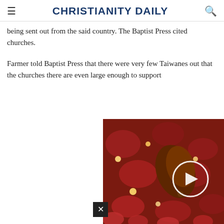CHRISTIANITY DAILY
being sent out from the said country. The Baptist Press cited churches.
Farmer told Baptist Press that there were very few Taiwanese out that the churches there are even large enough to support
[Figure (photo): Medical illustration showing blood cells and a parasite or organism inside a blood vessel, with a video play button overlay.]